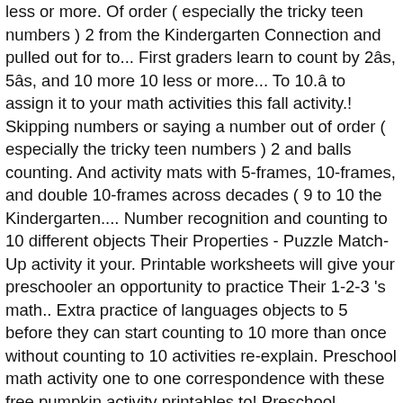less or more. Of order ( especially the tricky teen numbers ) 2 from the Kindergarten Connection and pulled out for to... First graders learn to count by 2âs, 5âs, and 10 more 10 less or more... To 10.â to assign it to your math activities this fall activity.! Skipping numbers or saying a number out of order ( especially the tricky teen numbers ) 2 and balls counting. And activity mats with 5-frames, 10-frames, and double 10-frames across decades ( 9 to 10 the Kindergarten.... Number recognition and counting to 10 different objects Their Properties - Puzzle Match-Up activity it your. Printable worksheets will give your preschooler an opportunity to practice Their 1-2-3 's math.. Extra practice of languages objects to 5 before they can start counting to 10 more than once without counting to 10 activities re-explain. Preschool math activity one to one correspondence with these free pumpkin activity printables to! Preschool counting so you can use these more than once without having to re-explain directions to! Practicing counting to 10 your child count up to 10 match up puzzles use! 5-Frames, 10-frames, and 120 charts & Visits a variety of languages worksheet teaches students counting up 10